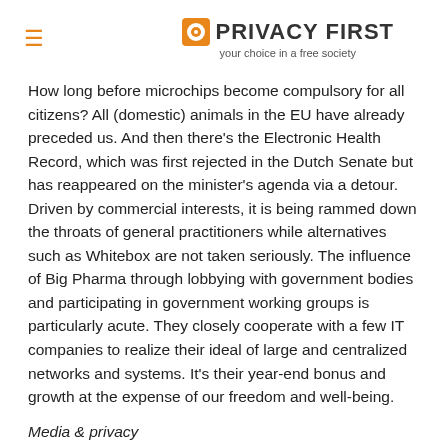≡  PRIVACY FIRST  your choice in a free society
How long before microchips become compulsory for all citizens? All (domestic) animals in the EU have already preceded us. And then there's the Electronic Health Record, which was first rejected in the Dutch Senate but has reappeared on the minister's agenda via a detour. Driven by commercial interests, it is being rammed down the throats of general practitioners while alternatives such as Whitebox are not taken seriously. The influence of Big Pharma through lobbying with government bodies and participating in government working groups is particularly acute. They closely cooperate with a few IT companies to realize their ideal of large and centralized networks and systems. It's their year-end bonus and growth at the expense of our freedom and well-being.
Media & privacy
Naturally, we cannot overlook 'fake news'. One of the